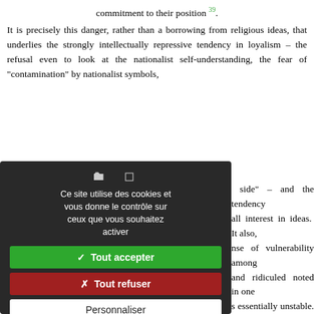commitment to their position 39.
It is precisely this danger, rather than a borrowing from religious ideas, that underlies the strongly intellectually repressive tendency in loyalism – the refusal even to look at the nationalist self-understanding, the fear of "contamination" by nationalist symbols, side" – and the tendency all interest in ideas. It also, nse of vulnerability among and ridiculed noted in one s essentially unstable. It may closed ideological system, annot achieve self-certainty : ism and constantly threatens
[Figure (screenshot): Cookie consent dialog overlay with dark background. Contains icons, French text 'Ce site utilise des cookies et vous donne le contrôle sur ceux que vous souhaitez activer', green 'Tout accepter' button, red 'Tout refuser' button, white 'Personnaliser' button, and 'Politique de confidentialité' link.]
n faces a choice. Typically, ve : they give a theological s, the chosen people, whose n of God's will. Religious ative against self-doubt. In oyalism is characterised by a new evidence. 41  It allows a